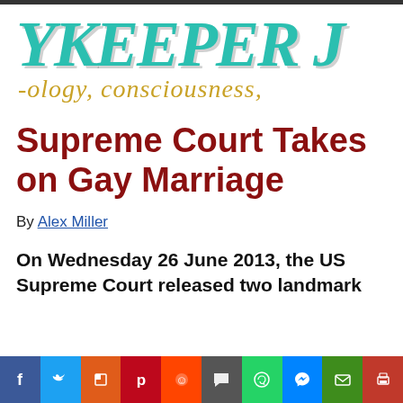[Figure (logo): Skykeeper Journal logo — partial teal bold italic text 'YKEEPER J' and golden italic subtitle '-ology, consciousness,']
Supreme Court Takes on Gay Marriage
By Alex Miller
On Wednesday 26 June 2013, the US Supreme Court released two landmark
[Figure (infographic): Social sharing buttons row: Facebook, Twitter, Flipboard, Pinterest, Reddit, Comments, WhatsApp, Messenger, Email, Print]